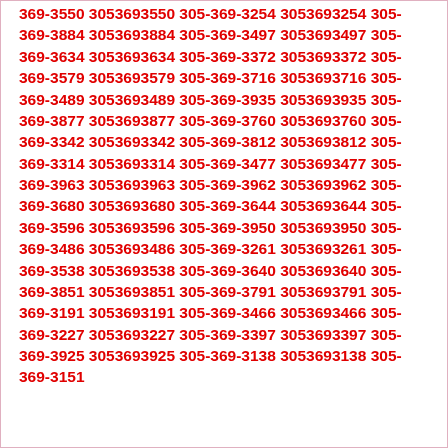369-3550 3053693550 305-369-3254 3053693254 305-369-3884 3053693884 305-369-3497 3053693497 305-369-3634 3053693634 305-369-3372 3053693372 305-369-3579 3053693579 305-369-3716 3053693716 305-369-3489 3053693489 305-369-3935 3053693935 305-369-3877 3053693877 305-369-3760 3053693760 305-369-3342 3053693342 305-369-3812 3053693812 305-369-3314 3053693314 305-369-3477 3053693477 305-369-3963 3053693963 305-369-3962 3053693962 305-369-3680 3053693680 305-369-3644 3053693644 305-369-3596 3053693596 305-369-3950 3053693950 305-369-3486 3053693486 305-369-3261 3053693261 305-369-3538 3053693538 305-369-3640 3053693640 305-369-3851 3053693851 305-369-3791 3053693791 305-369-3191 3053693191 305-369-3466 3053693466 305-369-3227 3053693227 305-369-3397 3053693397 305-369-3925 3053693925 305-369-3138 3053693138 305-369-3151